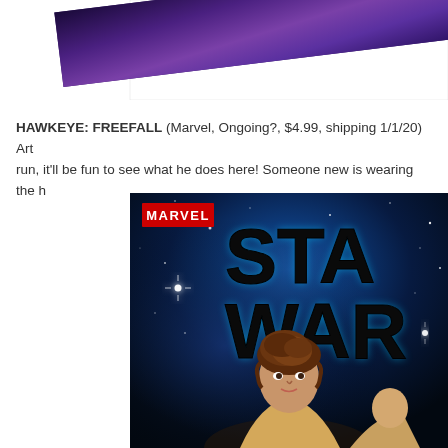[Figure (illustration): Partial view of a comic book cover showing a diagonal purple/dark element against white background, cropped at the top of the page]
HAWKEYE: FREEFALL (Marvel, Ongoing?, $4.99, shipping 1/1/20) Art run, it'll be fun to see what he does here! Someone new is wearing the h
[Figure (illustration): Star Wars comic book cover featuring the Marvel logo badge in red at top left, large 'STAR WARS' title text in black with cyan glow effect against a deep blue space background with stars, and a female character (likely Princess Leia) with brown hair in the lower portion of the image]